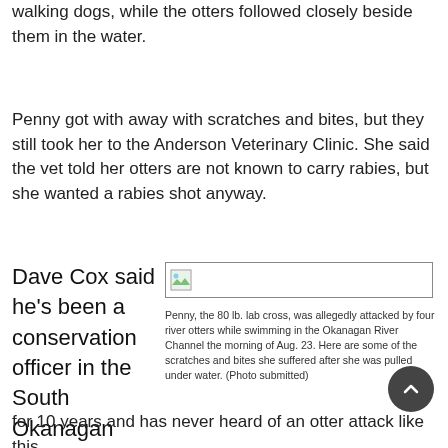walking dogs, while the otters followed closely beside them in the water.
Penny got with away with scratches and bites, but they still took her to the Anderson Veterinary Clinic. She said the vet told her otters are not known to carry rabies, but she wanted a rabies shot anyway.
Dave Cox said he's been a conservation officer in the South Okanagan
[Figure (photo): Image placeholder showing a photo of Penny the dog's scratches and bites]
Penny, the 80 lb. lab cross, was allegedly attacked by four river otters while swimming in the Okanagan River Channel the morning of Aug. 23. Here are some of the scratches and bites she suffered after she was pulled under water. (Photo submitted)
for 10 years and has never heard of an otter attack like this.